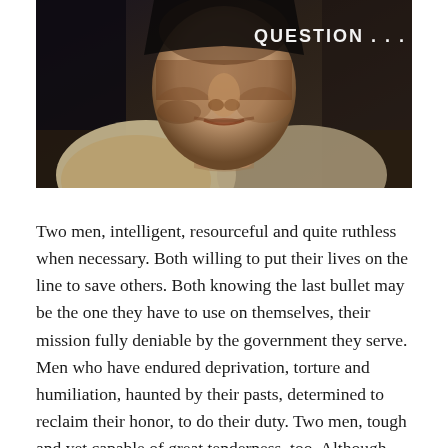[Figure (photo): Close-up sepia-toned photo of a man's face looking down, with 'QUESTION . . .' text in white in upper right corner]
Two men, intelligent, resourceful and quite ruthless when necessary. Both willing to put their lives on the line to save others. Both knowing the last bullet may be the one they have to use on themselves, their mission fully deniable by the government they serve. Men who have endured deprivation, torture and humiliation, haunted by their pasts, determined to reclaim their honor, to do their duty. Two men, tough and yet capable of great tenderness, too. Although flawed and damaged, they are still good, decent men. True heroes we can respect and admire. Thank you